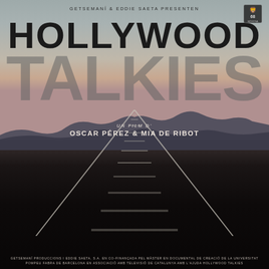[Figure (illustration): Movie poster for 'Hollywood Talkies', a documentary film. Features a twilight/dusk landscape with railroad tracks vanishing to a horizon point in the center, mountain silhouettes, and a gradient sky from gray-blue to warm rose. Large bold text overlays the image.]
GETSEMANÍ & EDDIE SAETA PRESENTEN
HOLLYWOOD TALKIES
UN FILM D'
OSCAR PÉREZ & MIA DE RIBOT
GETSEMANÍ PRODUCCIONS I EDDIE SAETA, S.A. EN CO-FINANÇADA PEL MÀSTER EN DOCUMENTAL DE CREACIÓ DE LA UNIVERSITAT POMPEU FABRA DE BARCELONA EN ASSOCIACIÓ AMB TELEVISIÓ DE CATALUNYA AMB L'AJUDA HOLLYWOOD TALKIES